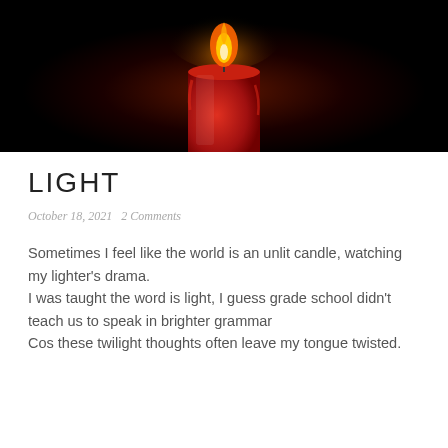[Figure (photo): Close-up photo of a red candle with a bright flame against a black background.]
LIGHT
October 18, 2021   2 Comments
Sometimes I feel like the world is an unlit candle, watching my lighter's drama.
I was taught the word is light, I guess grade school didn't teach us to speak in brighter grammar
Cos these twilight thoughts often leave my tongue twisted.